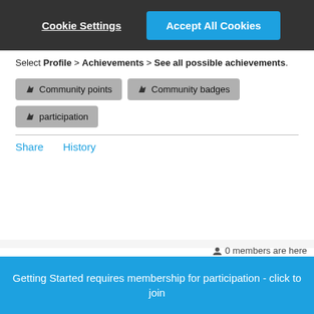[Figure (screenshot): Cookie consent banner with 'Cookie Settings' and 'Accept All Cookies' buttons on dark background]
Select Profile > Achievements > See all possible achievements.
Community points
Community badges
participation
Share   History
0 members are here
Leave a comment...
Getting Started requires membership for participation - click to join